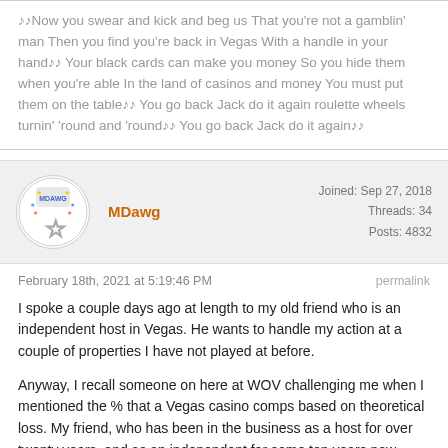♪♪Now you swear and kick and beg us That you're not a gamblin' man Then you find you're back in Vegas With a handle in your hand♪♪ Your black cards can make you money So you hide them when you're able In the land of casinos and money You must put them on the table♪♪ You go back Jack do it again roulette wheels turnin' 'round and 'round♪♪ You go back Jack do it again♪♪
MDawg
Joined: Sep 27, 2018
Threads: 34
Posts: 4832
February 18th, 2021 at 5:19:46 PM
permalink
I spoke a couple days ago at length to my old friend who is an independent host in Vegas. He wants to handle my action at a couple of properties I have not played at before.
Anyway, I recall someone on here at WOV challenging me when I mentioned the % that a Vegas casino comps based on theoretical loss. My friend, who has been in the business as a host for over twenty years, and as an independent for some ten years now,